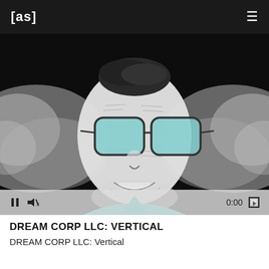[as]
[Figure (illustration): Black and white illustrated face of a man with large aviator sunglasses with teal/cyan-tinted lenses, mouth open in a wide grin, with an explosion of dark smoke/powder clouds on either side. The figure wears a teal collar at the bottom. Overall style is high-contrast pen illustration on dark background.]
DREAM CORP LLC: VERTICAL
DREAM CORP LLC: Vertical